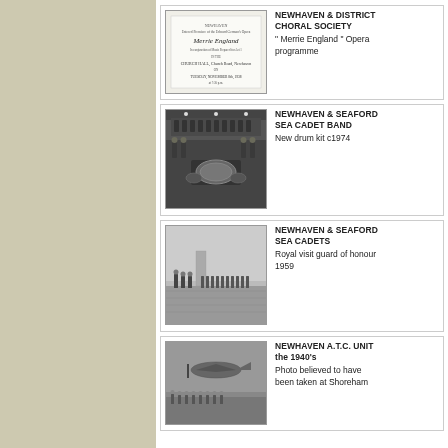[Figure (photo): Programme cover for Merrie England opera, Newhaven and District Choral Society]
NEWHAVEN & DISTRICT CHORAL SOCIETY
" Merrie England " Opera programme
[Figure (photo): Black and white photo of Newhaven & Seaford Sea Cadet Band with new drum kit c1974]
NEWHAVEN & SEAFORD SEA CADET BAND
New drum kit c1974
[Figure (photo): Black and white photo of Newhaven & Seaford Sea Cadets royal visit guard of honour 1959]
NEWHAVEN & SEAFORD SEA CADETS
Royal visit guard of honour 1959
[Figure (photo): Photo believed to have been taken at Shoreham, Newhaven A.T.C. Unit in the 1940s]
NEWHAVEN A.T.C. UNIT in the 1940's
Photo believed to have been taken at Shoreham